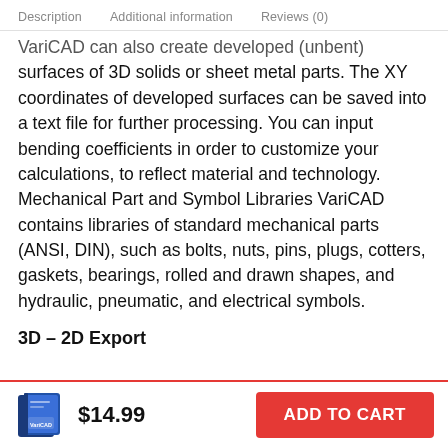Description   Additional information   Reviews (0)
VariCAD can also create developed (unbent) surfaces of 3D solids or sheet metal parts. The XY coordinates of developed surfaces can be saved into a text file for further processing. You can input bending coefficients in order to customize your calculations, to reflect material and technology. Mechanical Part and Symbol Libraries VariCAD contains libraries of standard mechanical parts (ANSI, DIN), such as bolts, nuts, pins, plugs, cotters, gaskets, bearings, rolled and drawn shapes, and hydraulic, pneumatic, and electrical symbols.
3D – 2D Export